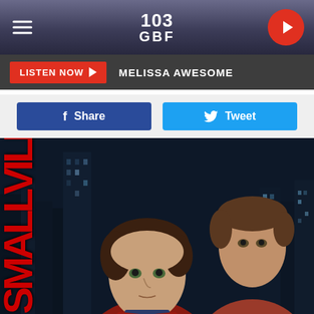103 GBF
LISTEN NOW  MELISSA AWESOME
Share  Tweet
[Figure (photo): Smallville TV show promotional image showing two young male actors against a dark city skyline background, with the word SMALLVILLE written vertically in red on the left side.]